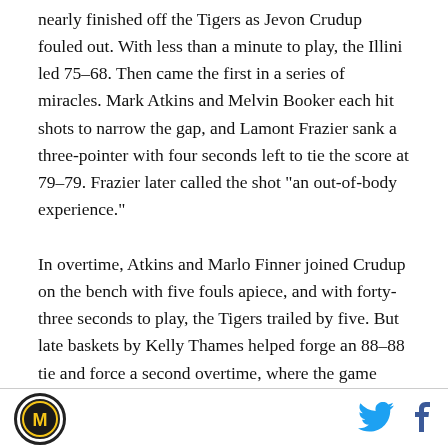nearly finished off the Tigers as Jevon Crudup fouled out. With less than a minute to play, the Illini led 75–68. Then came the first in a series of miracles. Mark Atkins and Melvin Booker each hit shots to narrow the gap, and Lamont Frazier sank a three-pointer with four seconds left to tie the score at 79–79. Frazier later called the shot "an out-of-body experience."
In overtime, Atkins and Marlo Finner joined Crudup on the bench with five fouls apiece, and with forty-three seconds to play, the Tigers trailed by five. But late baskets by Kelly Thames helped forge an 88–88 tie and force a second overtime, where the game became the stuff of legend.
[Figure (logo): Circular logo with letter M inside, Missouri Tigers branding]
[Figure (illustration): Twitter bird icon in cyan/blue]
[Figure (illustration): Facebook f icon in dark color]